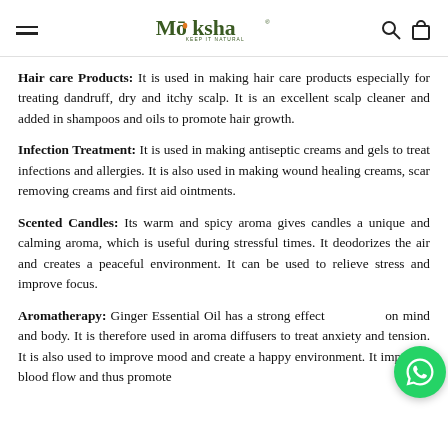Moksha — Keep it natural
Hair care Products: It is used in making hair care products especially for treating dandruff, dry and itchy scalp. It is an excellent scalp cleaner and added in shampoos and oils to promote hair growth.
Infection Treatment: It is used in making antiseptic creams and gels to treat infections and allergies. It is also used in making wound healing creams, scar removing creams and first aid ointments.
Scented Candles: Its warm and spicy aroma gives candles a unique and calming aroma, which is useful during stressful times. It deodorizes the air and creates a peaceful environment. It can be used to relieve stress and improve focus.
Aromatherapy: Ginger Essential Oil has a strong effect on mind and body. It is therefore used in aroma diffusers to treat anxiety and tension. It is also used to improve mood and create a happy environment. It improves blood flow and thus promote...